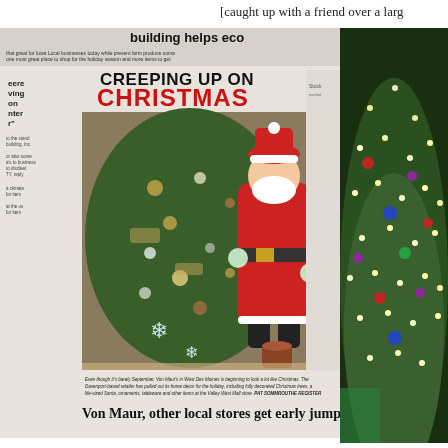[caught up with a friend over a larg
[Figure (photo): A newspaper page showing an article headline 'CREEPING UP ON CHRISTMAS' with a photo of a decorated Christmas tree and Santa Claus in a retail store (Von Maur, West Des Moines). Below the image is a caption: 'Even though it's barely September, Von Maur's in West Des Moines is beginning to look a lot like Christmas. The Davenport-based retailer has pulled out its home decor for the holiday, including fully decorated Christmas trees, a life-sized Santa, ornaments, tableware and other items at the Valley West Mall store.' Photo credit: PAT SOMNICOUTHE REGISTER. Below that a partial headline: 'Von Maur, other local stores get early jump on holiday']
[Figure (photo): A decorated Christmas tree with colorful lights and ornaments, partially visible on the right side of the image.]